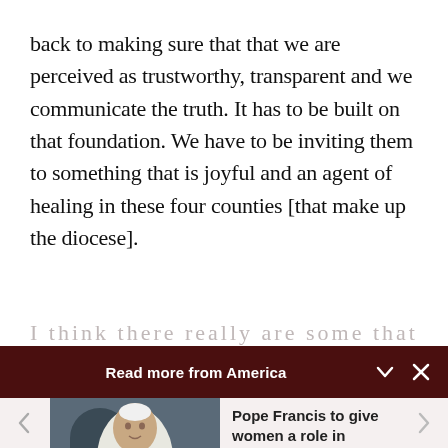back to making sure that that we are perceived as trustworthy, transparent and we communicate the truth. It has to be built on that foundation. We have to be inviting them to something that is joyful and an agent of healing in these four counties [that make up the diocese].
[Figure (screenshot): Dark red banner with text 'Read more from America' and chevron/close icons, followed by a card showing Pope Francis image with headline 'Pope Francis to give women a role in choosing...' by Cindy Wooden - Catholic News Service]